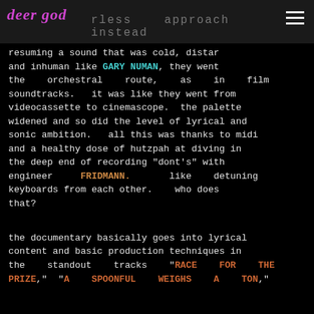deer god  rless  approach  instead
resuming a sound that was cold, distar and inhuman like GARY NUMAN, they went the orchestral route, as in film soundtracks.  it was like they went from videocassette to cinemascope.  the palette widened and so did the level of lyrical and sonic ambition.  all this was thanks to midi and a healthy dose of hutzpah at diving in the deep end of recording "dont's" with engineer FRIDMANN.  like detuning keyboards from each other.  who does that?

the documentary basically goes into lyrical content and basic production techniques in the standout tracks "RACE FOR THE PRIZE," "A SPOONFUL WEIGHS A TON,"